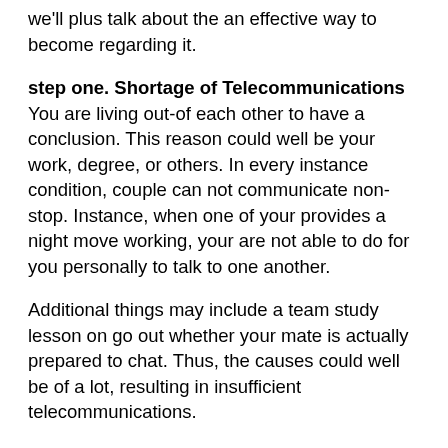we'll plus talk about the an effective way to become regarding it.
step one. Shortage of Telecommunications
You are living out-of each other to have a conclusion. This reason could well be your work, degree, or others. In every instance condition, couple can not communicate non-stop. Instance, when one of your provides a night move working, your are not able to do for you personally to talk to one another.
Additional things may include a team study lesson on go out whether your mate is actually prepared to chat. Thus, the causes could well be of a lot, resulting in insufficient telecommunications.
Communication is the base of all the dating. While your fail to correspond with him or her to possess quite a few years, you might wind up